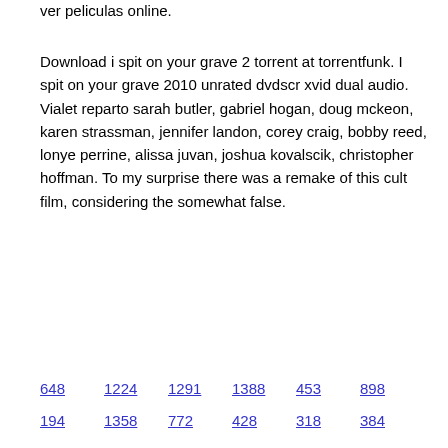ver peliculas online.
Download i spit on your grave 2 torrent at torrentfunk. I spit on your grave 2010 unrated dvdscr xvid dual audio. Vialet reparto sarah butler, gabriel hogan, doug mckeon, karen strassman, jennifer landon, corey craig, bobby reed, lonye perrine, alissa juvan, joshua kovalscik, christopher hoffman. To my surprise there was a remake of this cult film, considering the somewhat false.
648   1224   1291   1388   453   898
194   1358   772   428   318   384